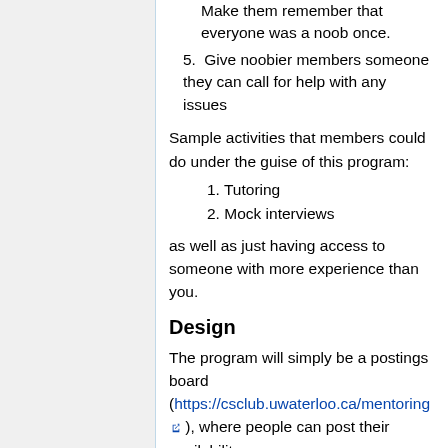Make them remember that everyone was a noob once.
5. Give noobier members someone they can call for help with any issues
Sample activities that members could do under the guise of this program:
1. Tutoring
2. Mock interviews
as well as just having access to someone with more experience than you.
Design
The program will simply be a postings board (https://csclub.uwaterloo.ca/mentoring), where people can post their availability